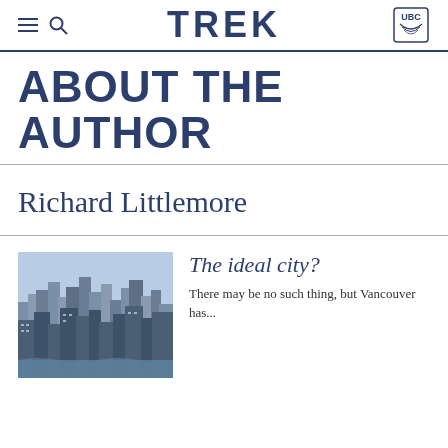TREK
ABOUT THE AUTHOR
Richard Littlemore
[Figure (photo): Aerial photograph of Vancouver city skyline showing dense urban buildings]
The ideal city?
There may be no such thing, but Vancouver has...